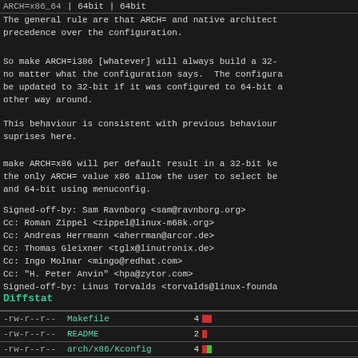|  |  | | 64bit | | 64bit |
| --- | --- | --- | --- |
| ARCH=x86_64 |  | | 64bit | | 64bit |
The general rule are that ARCH= and native architect... precedence over the configuration.
So make ARCH=i386 [whatever] will always build a 32-... no matter what the configuration says.  The configura... be updated to 32-bit if it was configured to 64-bit a... other way around.
This behaviour is consistent with previous behaviour... suprises here.
make ARCH=x86 will per default result in a 32-bit ke... the only ARCH= value x86 allow the user to select be... and 64-bit using menuconfig.
Signed-off-by: Sam Ravnborg <sam@ravnborg.org>
Cc: Roman Zippel <zippel@linux-m68k.org>
Cc: Andreas Herrmann <aherrman@arcor.de>
Cc: Thomas Gleixner <tglx@linutronix.de>
Cc: Ingo Molnar <mingo@redhat.com>
Cc: "H. Peter Anvin" <hpa@zytor.com>
Signed-off-by: Linus Torvalds <torvalds@linux-founda...
Diffstat
| permissions | file | changes | bar |
| --- | --- | --- | --- |
| -rw-r--r-- | Makefile | 4 |  |
| -rw-r--r-- | README | 2 |  |
| -rw-r--r-- | arch/x86/Kconfig | 4 |  |